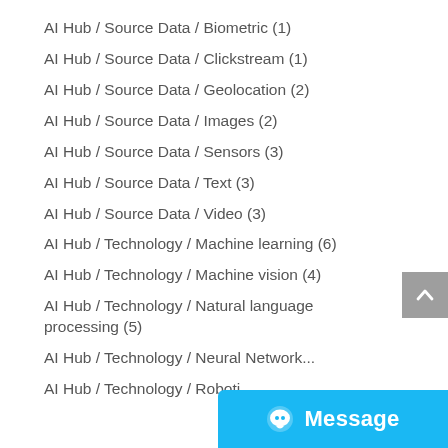AI Hub / Source Data / Biometric (1)
AI Hub / Source Data / Clickstream (1)
AI Hub / Source Data / Geolocation (2)
AI Hub / Source Data / Images (2)
AI Hub / Source Data / Sensors (3)
AI Hub / Source Data / Text (3)
AI Hub / Source Data / Video (3)
AI Hub / Technology / Machine learning (6)
AI Hub / Technology / Machine vision (4)
AI Hub / Technology / Natural language processing (5)
AI Hub / Technology / Neural Network (?)
AI Hub / Technology / Robotics (?)